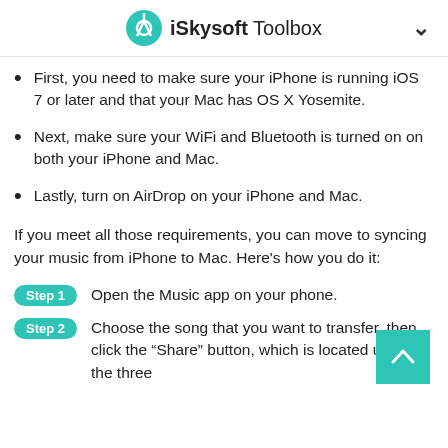iSkysoft Toolbox
First, you need to make sure your iPhone is running iOS 7 or later and that your Mac has OS X Yosemite.
Next, make sure your WiFi and Bluetooth is turned on on both your iPhone and Mac.
Lastly, turn on AirDrop on your iPhone and Mac.
If you meet all those requirements, you can move to syncing your music from iPhone to Mac. Here’s how you do it:
Step 1  Open the Music app on your phone.
Step 2  Choose the song that you want to transfer, then click the “Share” button, which is located under the three